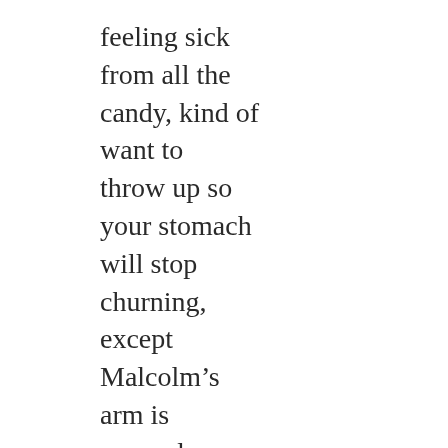feeling sick
from all the
candy, kind of
want to
throw up so
your stomach
will stop
churning,
except
Malcolm's
arm is
pressed
against yours
and you're on
edge
wondering